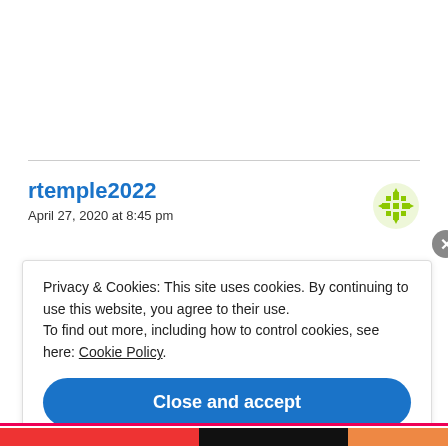rtemple2022
April 27, 2020 at 8:45 pm
Privacy & Cookies: This site uses cookies. By continuing to use this website, you agree to their use.
To find out more, including how to control cookies, see here: Cookie Policy
Close and accept